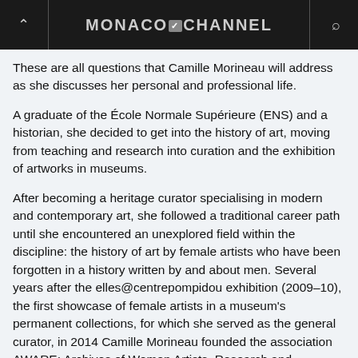MONACO CHANNEL
These are all questions that Camille Morineau will address as she discusses her personal and professional life.
A graduate of the École Normale Supérieure (ENS) and a historian, she decided to get into the history of art, moving from teaching and research into curation and the exhibition of artworks in museums.
After becoming a heritage curator specialising in modern and contemporary art, she followed a traditional career path until she encountered an unexplored field within the discipline: the history of art by female artists who have been forgotten in a history written by and about men. Several years after the elles@centrepompidou exhibition (2009–10), the first showcase of female artists in a museum's permanent collections, for which she served as the general curator, in 2014 Camille Morineau founded the association AWARE: Archives of Women Artists, Research and Exhibitions, a bilingual illustrated encyclopaedia of female artists of the nineteenth and twentieth centuries, the only one of its kind.
> Monday 31 January: The shot: a writing of the film